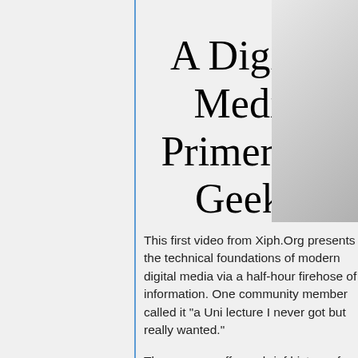A Digital Media Primer for Geeks
This first video from Xiph.Org presents the technical foundations of modern digital media via a half-hour firehose of information. One community member called it "a Uni lecture I never got but really wanted."
The program offers a brief history of digital media, a quick summary of the sampling theorem, and myriad details of low level audio and video